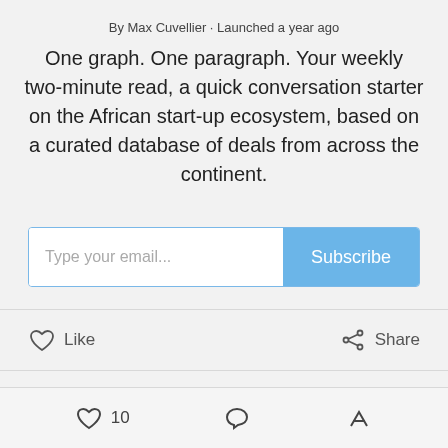By Max Cuvellier · Launched a year ago
One graph. One paragraph. Your weekly two-minute read, a quick conversation starter on the African start-up ecosystem, based on a curated database of deals from across the continent.
Type your email... Subscribe
Like   Share
10 likes
10